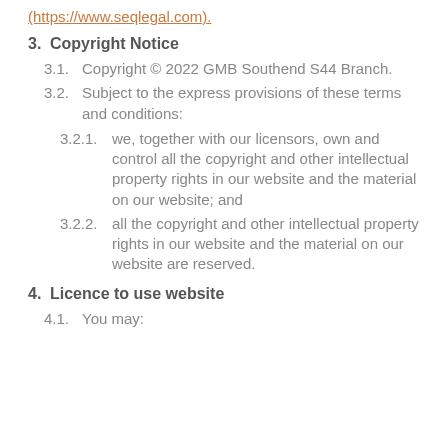(https://www.seqlegal.com).
3. Copyright Notice
3.1. Copyright © 2022 GMB Southend S44 Branch.
3.2. Subject to the express provisions of these terms and conditions:
3.2.1. we, together with our licensors, own and control all the copyright and other intellectual property rights in our website and the material on our website; and
3.2.2. all the copyright and other intellectual property rights in our website and the material on our website are reserved.
4. Licence to use website
4.1. You may: